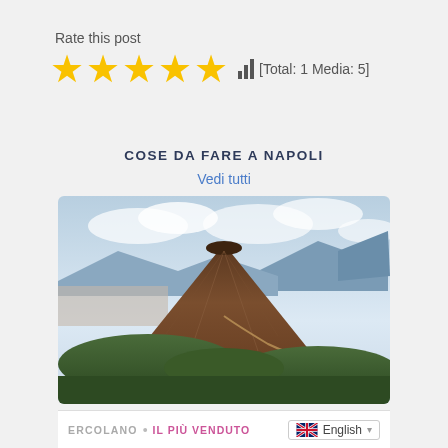Rate this post
[Figure (other): 5 yellow stars rating with bar chart icon and text [Total: 1 Media: 5]]
COSE DA FARE A NAPOLI
Vedi tutti
[Figure (photo): Aerial view of Mount Vesuvius volcano with city of Naples and mountains in background under cloudy sky]
ERCOLANO • IL PIÙ VENDUTO   English ▾